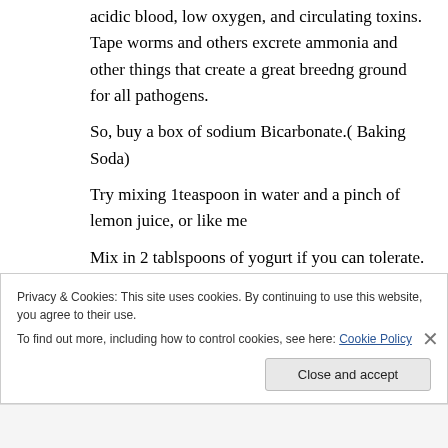acidic blood, low oxygen, and circulating toxins. Tape worms and others excrete ammonia and other things that create a great breedng ground for all pathogens.
So, buy a box of sodium Bicarbonate.( Baking Soda)
Try mixing 1teaspoon in water and a pinch of lemon juice, or like me
Mix in 2 tablspoons of yogurt if you can tolerate.
Two times a day, empty stomach a.m.
Before bed p.m.
Privacy & Cookies: This site uses cookies. By continuing to use this website, you agree to their use.
To find out more, including how to control cookies, see here: Cookie Policy